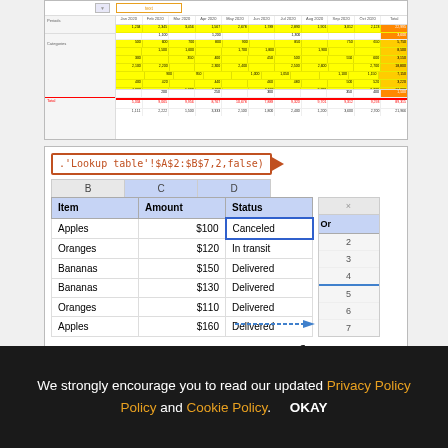[Figure (screenshot): Excel spreadsheet screenshot showing a financial table with yellow highlighted cells and red total rows with multiple columns of numeric data]
[Figure (screenshot): Excel VLOOKUP screenshot showing formula bar with .'Lookup table'!$A$2:$B$7,2,false), a main table with columns Item, Amount, Status containing data for Apples $100 Canceled, Oranges $120 In transit, Bananas $150 Delivered, Bananas $130 Delivered, Oranges $110 Delivered, Apples $160 Delivered, with sheet tabs 'Main table' and 'Lookup table', and a right panel showing row numbers 1-7]
Recommendations Of Excel
We strongly encourage you to read our updated Privacy Policy and Cookie Policy. OKAY